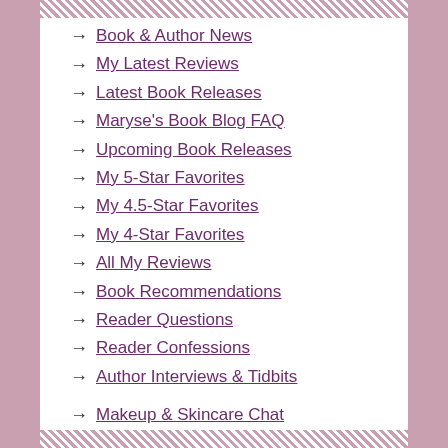→ Book & Author News
→ My Latest Reviews
→ Latest Book Releases
→ Maryse's Book Blog FAQ
→ Upcoming Book Releases
→ My 5-Star Favorites
→ My 4.5-Star Favorites
→ My 4-Star Favorites
→ All My Reviews
→ Book Recommendations
→ Reader Questions
→ Reader Confessions
→ Author Interviews & Tidbits
→ Makeup & Skincare Chat
→ Our Recipes & Kitchen Tools
BEST OF THE YEAR: